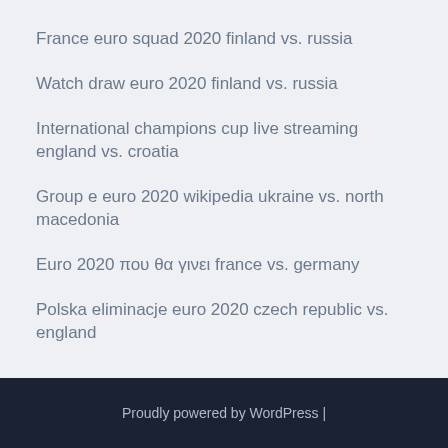France euro squad 2020 finland vs. russia
Watch draw euro 2020 finland vs. russia
International champions cup live streaming england vs. croatia
Group e euro 2020 wikipedia ukraine vs. north macedonia
Euro 2020 που θα γινει france vs. germany
Polska eliminacje euro 2020 czech republic vs. england
Proudly powered by WordPress |